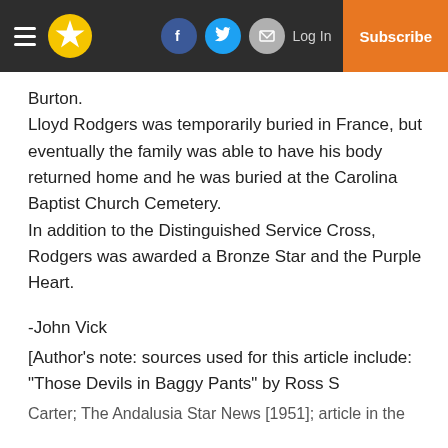Navigation header with menu, logo, social icons (Facebook, Twitter, Email), Log In, Subscribe
Burton.
Lloyd Rodgers was temporarily buried in France, but eventually the family was able to have his body returned home and he was buried at the Carolina Baptist Church Cemetery.
In addition to the Distinguished Service Cross, Rodgers was awarded a Bronze Star and the Purple Heart.
-John Vick
[Author's note: sources used for this article include: “Those Devils in Baggy Pants” by Ross S
Carter; The Andalusia Star News [1951]; article in the